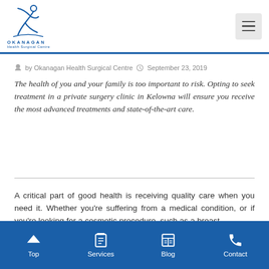Okanagan Health Surgical Centre — logo and navigation header
by Okanagan Health Surgical Centre   September 23, 2019
The health of you and your family is too important to risk. Opting to seek treatment in a private surgery clinic in Kelowna will ensure you receive the most advanced treatments and state-of-the-art care.
A critical part of good health is receiving quality care when you need it. Whether you're suffering from a medical condition, or if you're looking for a cosmetic procedure, such as a breast
Top   Services   Blog   Contact